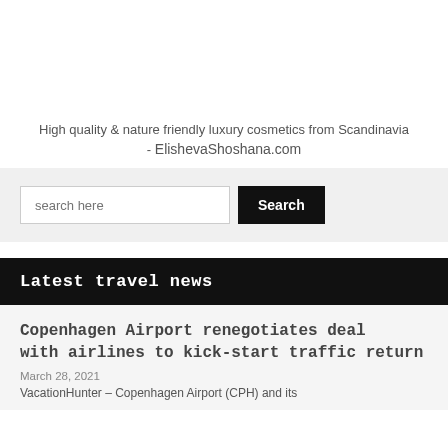High quality & nature friendly luxury cosmetics from Scandinavia - ElishevaShoshana.com
[Figure (other): Search bar UI with text input placeholder 'search here' and a black 'Search' button]
Latest travel news
Copenhagen Airport renegotiates deal with airlines to kick-start traffic return
March 28, 2021
VacationHunter – Copenhagen Airport (CPH) and its